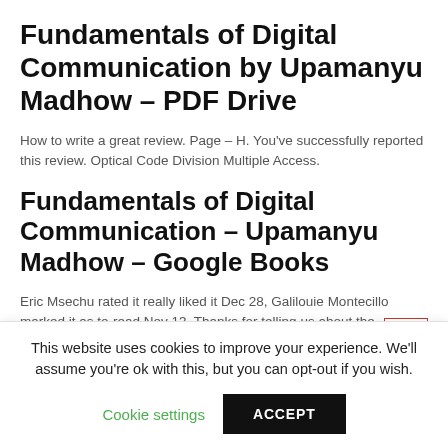Fundamentals of Digital Communication by Upamanyu Madhow – PDF Drive
How to write a great review. Page – H. You've successfully reported this review. Optical Code Division Multiple Access.
Fundamentals of Digital Communication – Upamanyu Madhow – Google Books
Eric Msechu rated it really liked it Dec 28, Galilouie Montecillo marked it as to-read Nov 13, Thanks for telling us about the problem.
This website uses cookies to improve your experience. We'll assume you're ok with this, but you can opt-out if you wish.
Cookie settings   ACCEPT